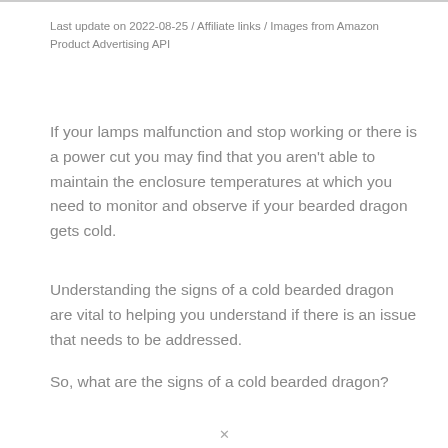Last update on 2022-08-25 / Affiliate links / Images from Amazon Product Advertising API
If your lamps malfunction and stop working or there is a power cut you may find that you aren't able to maintain the enclosure temperatures at which you need to monitor and observe if your bearded dragon gets cold.
Understanding the signs of a cold bearded dragon are vital to helping you understand if there is an issue that needs to be addressed.
So, what are the signs of a cold bearded dragon?